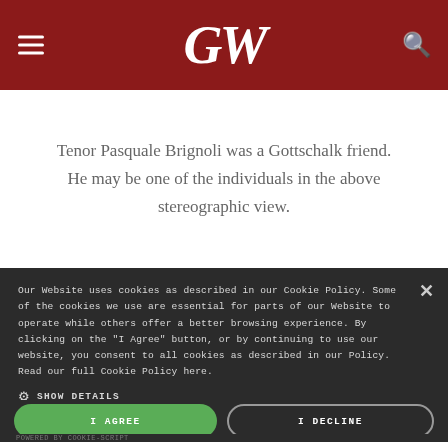GW
Tenor Pasquale Brignoli was a Gottschalk friend. He may be one of the individuals in the above stereographic view.
Our Website uses cookies as described in our Cookie Policy. Some of the cookies we use are essential for parts of our Website to operate while others offer a better browsing experience. By clicking on the "I Agree" button, or by continuing to use our website, you consent to all cookies as described in our Policy. Read our full Cookie Policy here.
SHOW DETAILS
I AGREE
I DECLINE
POWERED BY COOKIE-SCRIPT